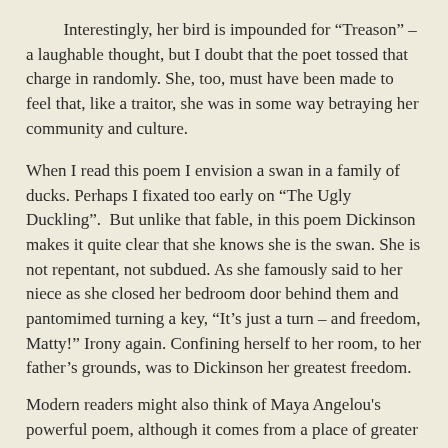Interestingly, her bird is impounded for “Treason” – a laughable thought, but I doubt that the poet tossed that charge in randomly. She, too, must have been made to feel that, like a traitor, she was in some way betraying her community and culture.
When I read this poem I envision a swan in a family of ducks. Perhaps I fixated too early on “The Ugly Duckling”.  But unlike that fable, in this poem Dickinson makes it quite clear that she knows she is the swan. She is not repentant, not subdued. As she famously said to her niece as she closed her bedroom door behind them and pantomimed turning a key, “It’s just a turn – and freedom, Matty!” Irony again. Confining herself to her room, to her father’s grounds, was to Dickinson her greatest freedom.
Modern readers might also think of Maya Angelou's powerful poem, although it comes from a place of greater oppression:
Caged Bird
A free bird leaps